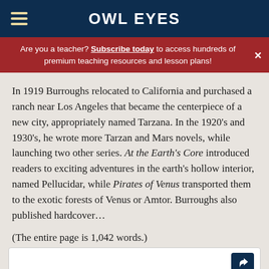OWL EYES
Are you a teacher? Subscribe today to access hundreds of premium teaching resources and lesson plans!
In 1919 Burroughs relocated to California and purchased a ranch near Los Angeles that became the centerpiece of a new city, appropriately named Tarzana. In the 1920's and 1930's, he wrote more Tarzan and Mars novels, while launching two other series. At the Earth's Core introduced readers to exciting adventures in the earth's hollow interior, named Pellucidar, while Pirates of Venus transported them to the exotic forests of Venus or Amtor. Burroughs also published hardcover...
(The entire page is 1,042 words.)
Owl Eyes subscribers get unlimited access to